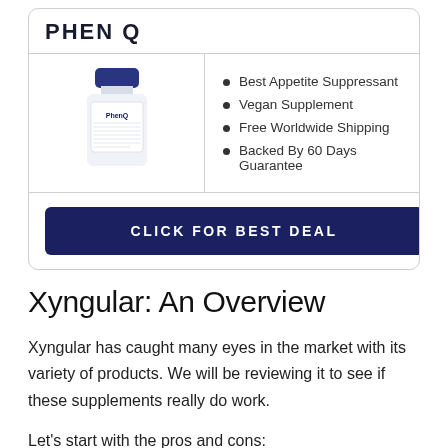PHENQ
[Figure (illustration): White pill bottle with navy blue cap labeled PhenQ]
Best Appetite Suppressant
Vegan Supplement
Free Worldwide Shipping
Backed By 60 Days Guarantee
CLICK FOR BEST DEAL
Xyngular: An Overview
Xyngular has caught many eyes in the market with its variety of products. We will be reviewing it to see if these supplements really do work.
Let's start with the pros and cons: